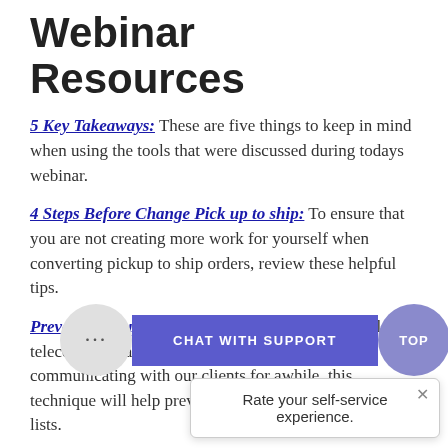Webinar Resources
5 Key Takeaways: These are five things to keep in mind when using the tools that were discussed during todays webinar.
4 Steps Before Change Pick up to ship: To ensure that you are not creating more work for yourself when converting pickup to ship orders, review these helpful tips.
Preventing Duplicates in List Builder: Since email and telecom campaigns will be our only means of communicating with our clients for awhile, this technique will help prevent adding contacts to multiple lists.
Building a J... mp during Covi... lub